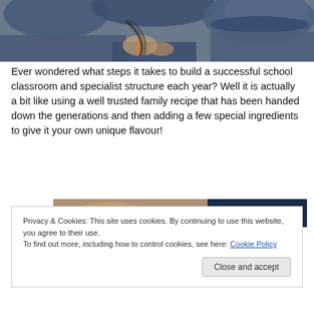[Figure (photo): Students in blue school hats/uniforms, close-up view from above]
Ever wondered what steps it takes to build a successful school classroom and specialist structure each year? Well it is actually a bit like using a well trusted family recipe that has been handed down the generations and then adding a few special ingredients to give it your own unique flavour!
[Figure (photo): Partial photo of hands, partially obscured by cookie consent banner]
Privacy & Cookies: This site uses cookies. By continuing to use this website, you agree to their use.
To find out more, including how to control cookies, see here: Cookie Policy
Close and accept